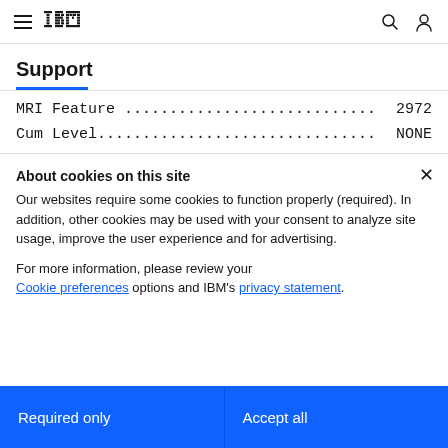IBM Support
Support
MRI Feature ............................ 2972
Cum Level............................... NONE
About cookies on this site
Our websites require some cookies to function properly (required). In addition, other cookies may be used with your consent to analyze site usage, improve the user experience and for advertising.
For more information, please review your Cookie preferences options and IBM's privacy statement.
Required only
Accept all